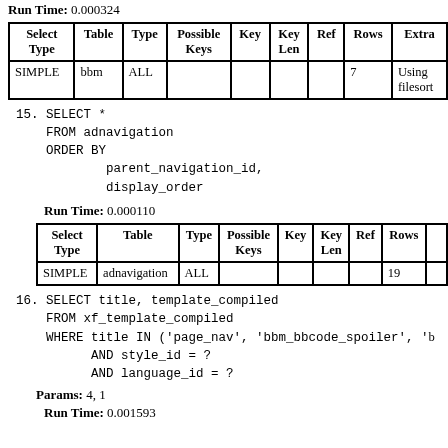Run Time: 0.000324
| Select Type | Table | Type | Possible Keys | Key | Key Len | Ref | Rows | Extra |
| --- | --- | --- | --- | --- | --- | --- | --- | --- |
| SIMPLE | bbm | ALL |  |  |  |  | 7 | Using filesort |
15. SELECT *
    FROM adnavigation
    ORDER BY
            parent_navigation_id,
            display_order
Run Time: 0.000110
| Select Type | Table | Type | Possible Keys | Key | Key Len | Ref | Rows | E... |
| --- | --- | --- | --- | --- | --- | --- | --- | --- |
| SIMPLE | adnavigation | ALL |  |  |  |  | 19 |  |
16. SELECT title, template_compiled
    FROM xf_template_compiled
    WHERE title IN ('page_nav', 'bbm_bbcode_spoiler', '...
          AND style_id = ?
          AND language_id = ?
Params: 4, 1
Run Time: 0.001593